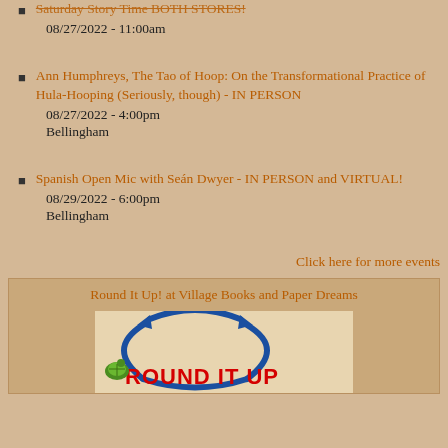Saturday Story Time BOTH STORES!
08/27/2022 - 11:00am
Ann Humphreys, The Tao of Hoop: On the Transformational Practice of Hula-Hooping (Seriously, though) - IN PERSON
08/27/2022 - 4:00pm
Bellingham
Spanish Open Mic with Seán Dwyer - IN PERSON and VIRTUAL!
08/29/2022 - 6:00pm
Bellingham
Click here for more events
Round It Up! at Village Books and Paper Dreams
[Figure (logo): Round It Up logo with blue circular arrow and colorful text]